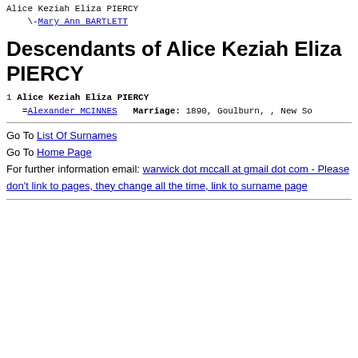Alice Keziah Eliza PIERCY
    \-Mary Ann BARTLETT
Descendants of Alice Keziah Eliza PIERCY
1  Alice Keziah Eliza PIERCY
   =Alexander MCINNES   Marriage: 1890, Goulburn, , New So
Go To List Of Surnames
Go To Home Page
For further information email: warwick dot mccall at gmail dot com - Please don't link to pages, they change all the time, link to surname page